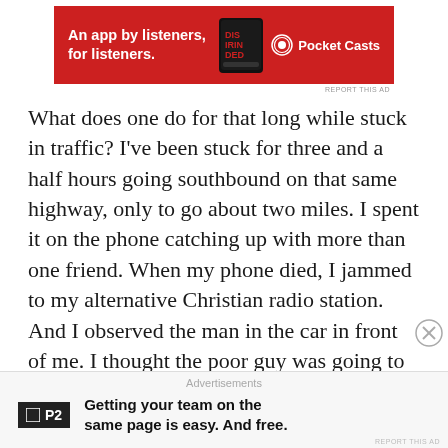[Figure (photo): Red advertisement banner for Pocket Casts app showing a smartphone and text 'An app by listeners, for listeners.' with Pocket Casts logo on right]
What does one do for that long while stuck in traffic? I've been stuck for three and a half hours going southbound on that same highway, only to go about two miles. I spent it on the phone catching up with more than one friend. When my phone died, I jammed to my alternative Christian radio station. And I observed the man in the car in front of me. I thought the poor guy was going to lose it every time another car cut in front of him. I watched him pound the wheel, pull at his own hair, and give people the finger. It was a relief that I couldn't hear
[Figure (infographic): Bottom advertisement bar with P2 logo and text 'Getting your team on the same page is easy. And free.']